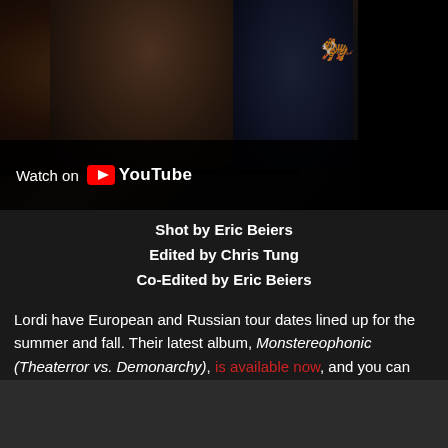[Figure (screenshot): YouTube video thumbnail showing dark fantasy/metal imagery with 'Watch on YouTube' overlay at bottom left]
Shot by Eric Beiers
Edited by Chris Tung
Co-Edited by Eric Beiers
Lordi have European and Russian tour dates lined up for the summer and fall. Their latest album, Monstereophonic (Theaterror vs. Demonarchy), is available now, and you can watch the NSFW video for “Hug You Hardcore” below.
[Figure (screenshot): Second video embed area, dark background]